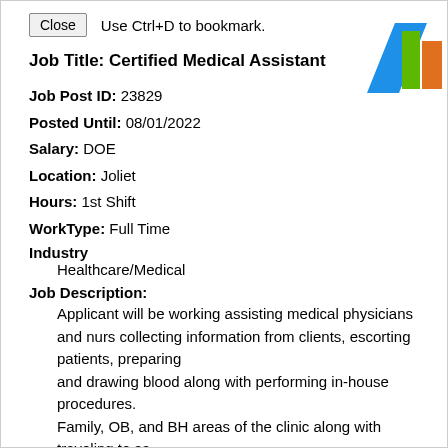Close   Use Ctrl+D to bookmark.
Job Title: Certified Medical Assistant
Job Post ID: 23829
Posted Until: 08/01/2022
Salary: DOE
Location: Joliet
Hours: 1st Shift
WorkType: Full Time
Industry
Healthcare/Medical
Job Description:
Applicant will be working assisting medical physicians and nurses collecting information from clients, escorting patients, preparing and drawing blood along with performing in-house procedures. Family, OB, and BH areas of the clinic along with traveling to sa 9:00 am-5:00 pm, and Friday 8:30 am- 4:30 pm.
Job Requirements:
[Figure (logo): Colorful logo with blue, green, and orange shapes in top right corner]